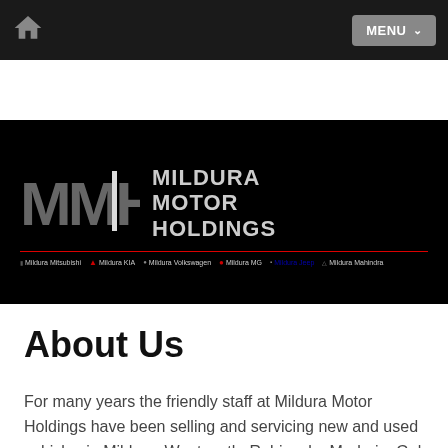[Figure (logo): Navigation bar with home icon and MENU dropdown button on dark background]
[Figure (logo): Mildura Motor Holdings (MMH) logo banner on black background with sub-brand logos including Mildura Mitsubishi, Mildura KIA, Mildura Volkswagen, Mildura MG, Mildura Jeep, Mildura Mahindra]
Mildura Motor Holdings - Mildura
About Us
For many years the friendly staff at Mildura Motor Holdings have been selling and servicing new and used vehicles in Mildura, Wentworth, Robinvale, Merbein, Gol Gol, Irymple and the surrounding region of Victoria.